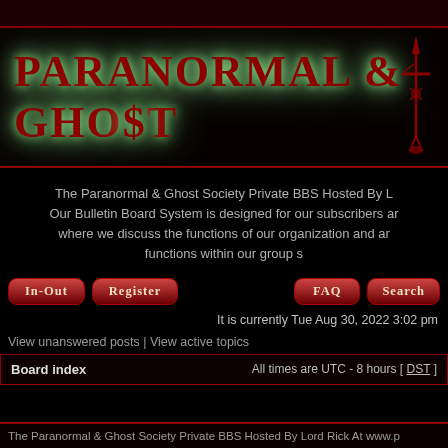[Figure (logo): Paranormal & Ghost Society logo banner with dark red gothic text on black background with green glow effect and sword graphic]
The Paranormal & Ghost Society Private BBS Hosted By L Our Bulletin Board System is designed for our subscribers ar where we discuss the functions of our organization and ar functions within our group s
[Figure (screenshot): Navigation buttons: In-Out, Register, FAQ, Search - styled as red rounded buttons with gothic text]
It is currently Tue Aug 30, 2022 3:02 pm
View unanswered posts | View active topics
Board index                    All times are UTC - 8 hours [ DST ]
The Paranormal & Ghost Society Private BBS Hosted By Lord Rick At www.p